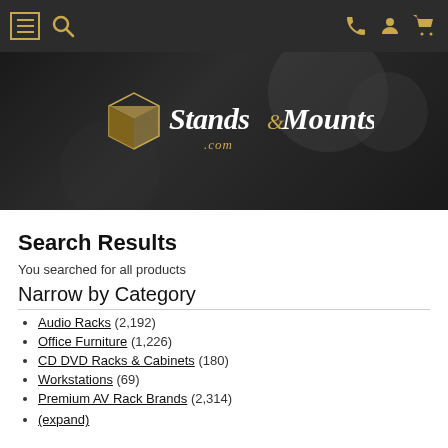Stands and Mounts navigation header
[Figure (logo): StandsandMounts.com logo on dark hero banner background with decorative elements]
Search Results
You searched for all products
Narrow by Category
Audio Racks (2,192)
Office Furniture (1,226)
CD DVD Racks & Cabinets (180)
Workstations (69)
Premium AV Rack Brands (2,314)
(expand)